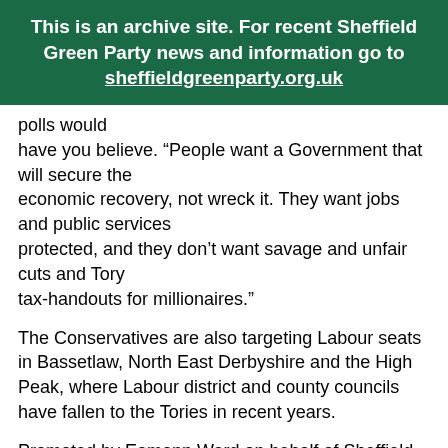This is an archive site. For recent Sheffield Green Party news and information go to sheffieldgreenparty.org.uk
polls would have you believe. “People want a Government that will secure the economic recovery, not wreck it. They want jobs and public services protected, and they don’t want savage and unfair cuts and Tory tax-handouts for millionaires.”
The Conservatives are also targeting Labour seats in Bassetlaw, North East Derbyshire and the High Peak, where Labour district and county councils have fallen to the Tories in recent years.
Promoted by Eamonn Ward on behalf of Sheffield Green Party, 73 Eskdale Road, Sheffield, S6 1SL